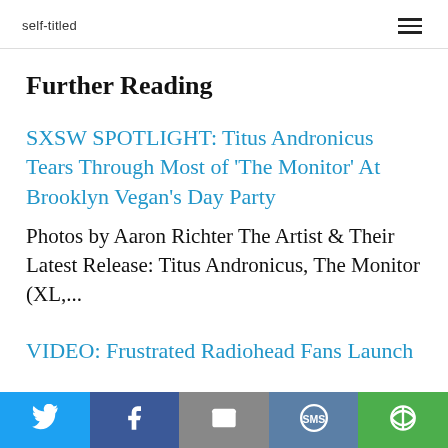self-titled
Further Reading
SXSW SPOTLIGHT: Titus Andronicus Tears Through Most of 'The Monitor' At Brooklyn Vegan's Day Party
Photos by Aaron Richter The Artist & Their Latest Release: Titus Andronicus, The Monitor (XL,...
VIDEO: Frustrated Radiohead Fans Launch